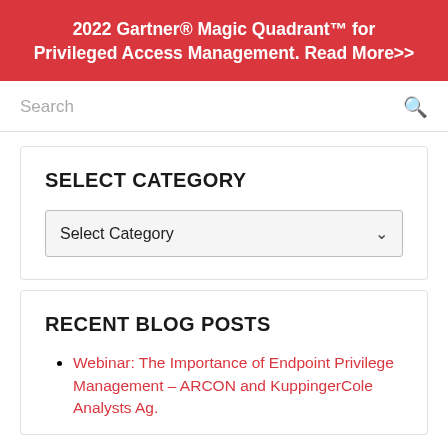2022 Gartner® Magic Quadrant™ for Privileged Access Management. Read More>>
Search
SELECT CATEGORY
Select Category
RECENT BLOG POSTS
Webinar: The Importance of Endpoint Privilege Management – ARCON and KuppingerCole Analysts Ag.